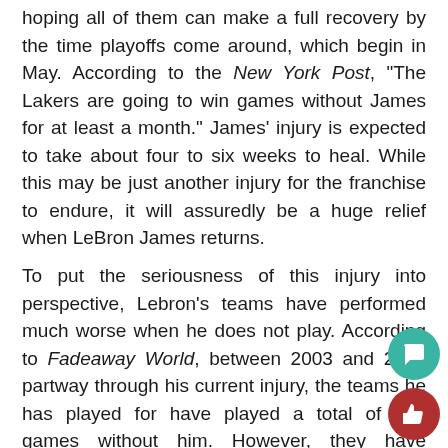hoping all of them can make a full recovery by the time playoffs come around, which begin in May. According to the New York Post, "The Lakers are going to win games without James for at least a month." James' injury is expected to take about four to six weeks to heal. While this may be just another injury for the franchise to endure, it will assuredly be a huge relief when LeBron James returns.
To put the seriousness of this injury into perspective, Lebron's teams have performed much worse when he does not play. According to Fadeaway World, between 2003 and 2021 partway through his current injury, the teams he has played for have played a total of 120 games without him. However, they have managed to win just 41 and lost 79 of those. Lebron's impact on the court is immense and a large part of why this injury is so significant.